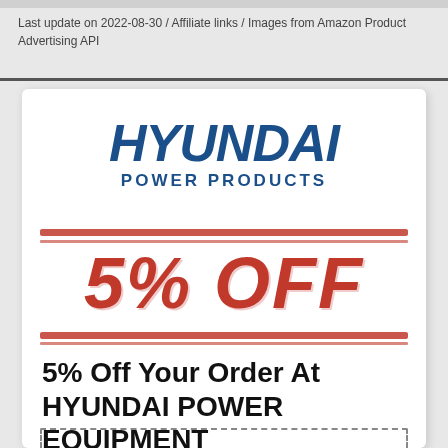Last update on 2022-08-30 / Affiliate links / Images from Amazon Product Advertising API
[Figure (illustration): Hyundai Power Products coupon card showing '5% OFF' in red stamp style with two red horizontal rules above and below, and bold black text '5% Off Your Order At HYUNDAI POWER EQUIPMENT' below, with a dashed coupon border at the bottom.]